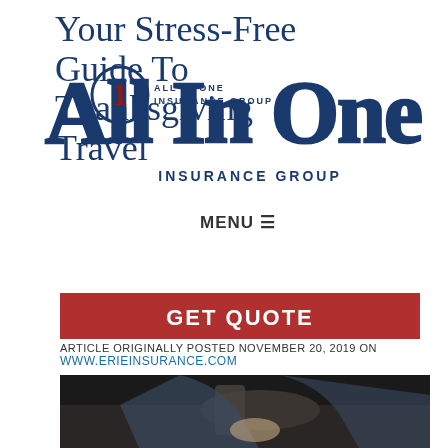Your Stress-Free Guide To Thanksgiving Travel
[Figure (logo): All In One Insurance Group logo with circled number 1]
INSURANCE GROUP
MENU ≡
GET QUOTE
ARTICLE ORIGINALLY POSTED NOVEMBER 20, 2019 ON WWW.ERIEINSURANCE.COM
[Figure (photo): Person loading luggage into a car trunk]